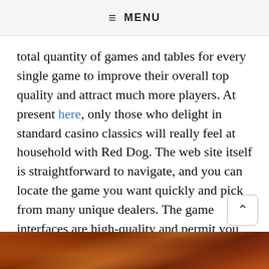≡ MENU
total quantity of games and tables for every single game to improve their overall top quality and attract much more players. At present here, only those who delight in standard casino classics will really feel at household with Red Dog. The web site itself is straightforward to navigate, and you can locate the game you want quickly and pick from many unique dealers. The game interfaces are high-quality and permit you to communicate with live dealers and players.
[Figure (photo): Partial view of a roulette wheel or casino table with warm reddish-brown tones at the bottom of the page]